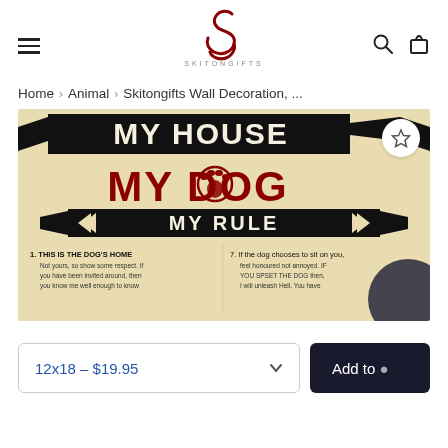SKITONGIFTS — navigation header with hamburger menu, logo, search and cart icons
Home › Animal › Skitongifts Wall Decoration, ...
[Figure (photo): Product photo of a vintage-style wall decoration sign reading 'MY HOUSE MY DOG MY RULE' with rules listed below in a distressed black-and-red typographic style on a aged cream background. A white circular wishlist/star button overlays the top-right corner.]
12x18 – $19.95
Add to cart